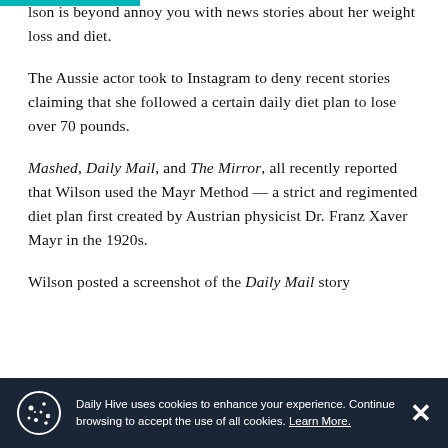lson is beyond annoy you with news stories about her weight loss and diet.
The Aussie actor took to Instagram to deny recent stories claiming that she followed a certain daily diet plan to lose over 70 pounds.
Mashed, Daily Mail, and The Mirror, all recently reported that Wilson used the Mayr Method — a strict and regimented diet plan first created by Austrian physicist Dr. Franz Xaver Mayr in the 1920s.
Wilson posted a screenshot of the Daily Mail story
Daily Hive uses cookies to enhance your experience. Continue browsing to accept the use of all cookies. Learn More.